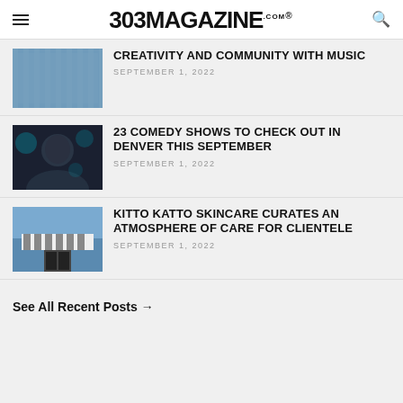303 MAGAZINE .COM ®
CREATIVITY AND COMMUNITY WITH MUSIC
SEPTEMBER 1, 2022
23 COMEDY SHOWS TO CHECK OUT IN DENVER THIS SEPTEMBER
SEPTEMBER 1, 2022
KITTO KATTO SKINCARE CURATES AN ATMOSPHERE OF CARE FOR CLIENTELE
SEPTEMBER 1, 2022
See All Recent Posts →